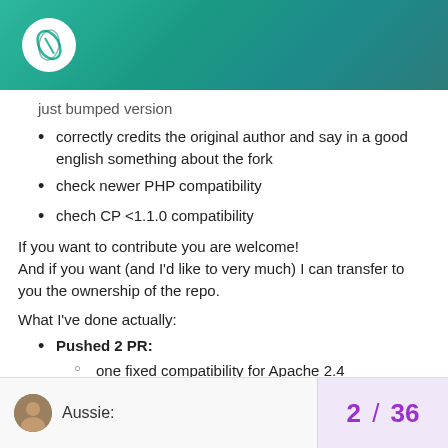[Figure (logo): White circular logo with a leaf/feather icon on teal gradient header]
just bumped version (partial, struck through at top)
correctly credits the original author and say in a good english something about the fork
check newer PHP compatibility
chech CP <1.1.0 compatibility
If you want to contribute you are welcome!
And if you want (and I'd like to very much) I can transfer to you the ownership of the repo.
What I've done actually:
Pushed 2 PR:
one fixed compatibility for Apache 2.4
one added some good styling and pt_BR language
corrected a bug when PHP is compiled out of apache
of course moved to Security menu when it's available
Aussie:  2 / 36